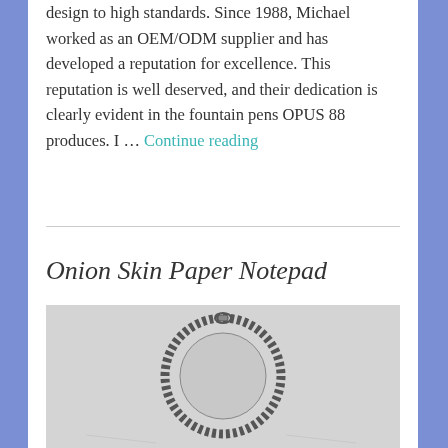design to high standards. Since 1988, Michael worked as an OEM/ODM supplier and has developed a reputation for excellence. This reputation is well deserved, and their dedication is clearly evident in the fountain pens OPUS 88 produces. I … Continue reading
Onion Skin Paper Notepad
[Figure (photo): A spiral-bound notepad shown from above, displaying the coil binding as a circular ring shape against a light gray background.]